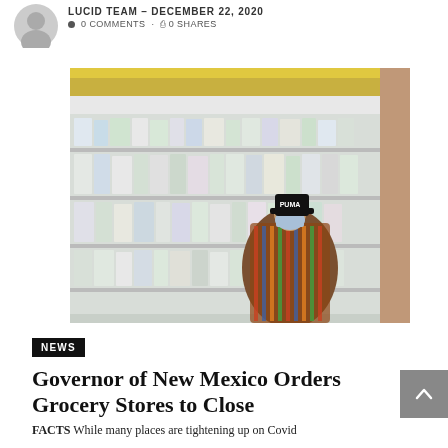LUCID TEAM – DECEMBER 22, 2020  0 COMMENTS · 0 SHARES
[Figure (photo): Person wearing a face mask and PUMA cap shopping in a grocery store, standing in front of a refrigerated dairy aisle filled with products.]
NEWS
Governor of New Mexico Orders Grocery Stores to Close
FACTS While many places are tightening up on Covid